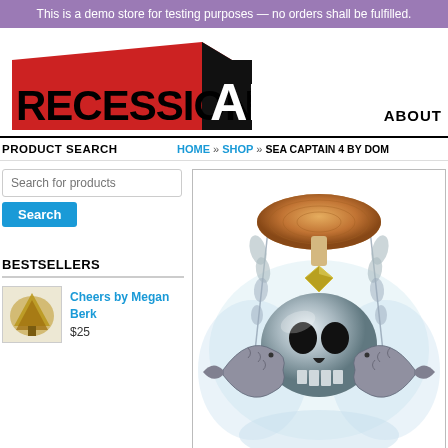This is a demo store for testing purposes — no orders shall be fulfilled.
[Figure (logo): Recession Art logo — bold red and black 3D block letters]
ABOUT
PRODUCT SEARCH
HOME » SHOP » SEA CAPTAIN 4 BY DOM
Search for products
Search
BESTSELLERS
Cheers by Megan Berk
$25
[Figure (illustration): Digital art illustration featuring a chrome skull with fish, mushroom, and botanical elements on a white background]